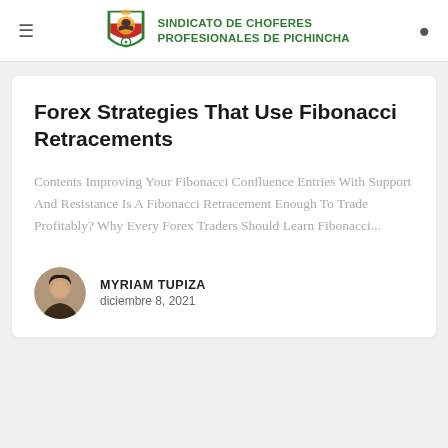[Figure (logo): Sindicato de Choferes Profesionales de Pichincha shield logo with eagle and red/green/gold colors]
SINDICATO DE CHOFERES PROFESIONALES DE PICHINCHA
Forex Strategies That Use Fibonacci Retracements
Contents Improving Your Fibonacci Confluence Entries With Support And Resistance Is A Fibonacci Retracement Enough To Trade Profitably? Why Every Forex Traders Should Learn Fibonacci...
MYRIAM TUPIZA
diciembre 8, 2021